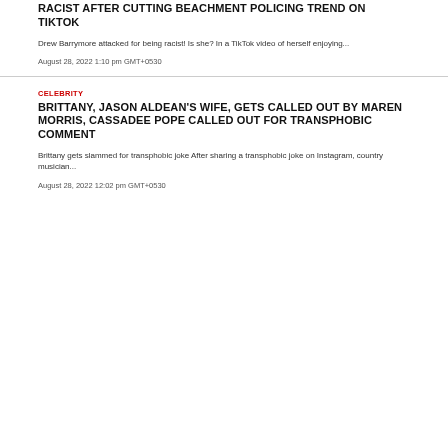RACIST AFTER CUTTING BEACHMENT POLICING TREND ON TIKTOK
Drew Barrymore attacked for being racist! Is she? In a TikTok video of herself enjoying...
August 28, 2022 1:10 pm GMT+0530
CELEBRITY
BRITTANY, JASON ALDEAN'S WIFE, GETS CALLED OUT BY MAREN MORRIS, CASSADEE POPE CALLED OUT FOR TRANSPHOBIC COMMENT
Brittany gets slammed for transphobic joke After sharing a transphobic joke on Instagram, country musician...
August 28, 2022 12:02 pm GMT+0530